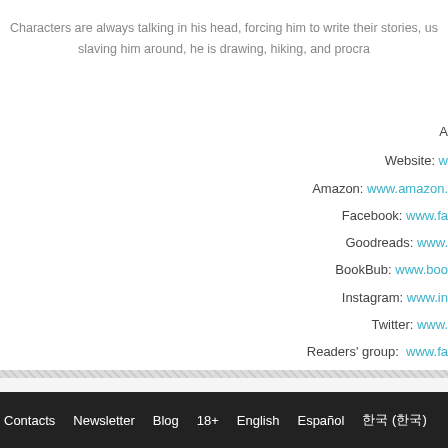Characters are always talking in his head, forcing him to write their stories, us slaving him around, he is drawing, hiking, and procra
A
Website: w
Amazon: www.amazon.
Facebook: www.fa
Goodreads: www.
BookBub: www.boo
Instagram: www.in
Twitter: www.
Readers' group: www.fa
Contacts  Newsletter  Blog  18+  English  Español  한국 (한국)